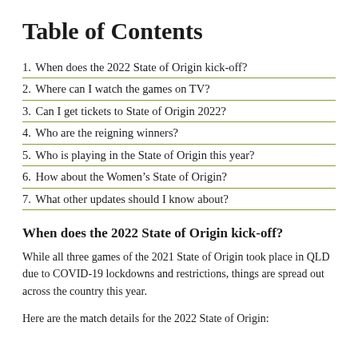Table of Contents
1. When does the 2022 State of Origin kick-off?
2. Where can I watch the games on TV?
3. Can I get tickets to State of Origin 2022?
4. Who are the reigning winners?
5. Who is playing in the State of Origin this year?
6. How about the Women’s State of Origin?
7. What other updates should I know about?
When does the 2022 State of Origin kick-off?
While all three games of the 2021 State of Origin took place in QLD due to COVID-19 lockdowns and restrictions, things are spread out across the country this year.
Here are the match details for the 2022 State of Origin: